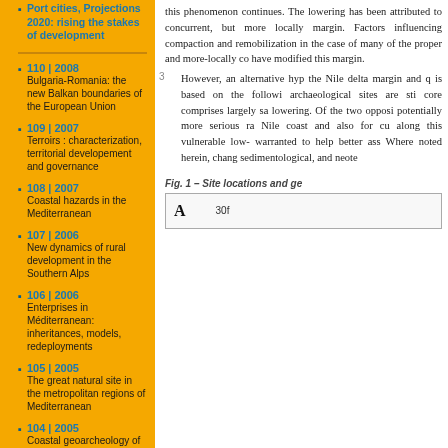Port cities, Projections 2020: rising the stakes of development
110 | 2008
Bulgaria-Romania: the new Balkan boundaries of the European Union
109 | 2007
Terroirs : characterization, territorial developement and governance
108 | 2007
Coastal hazards in the Mediterranean
107 | 2006
New dynamics of rural development in the Southern Alps
106 | 2006
Enterprises in Méditerranean: inheritances, models, redeployments
105 | 2005
The great natural site in the metropolitan regions of Mediterranean
104 | 2005
Coastal geoarcheology of the Mediterranean
this phenomenon continues. The lowering has been attributed to concurrent, but more locally margin. Factors influencing compaction and remobilization in the case of many of the proper and more-locally co have modified this margin.
However, an alternative hyp the Nile delta margin and q is based on the followi archaeological sites are sti core comprises largely sa lowering. Of the two opposi potentially more serious ra Nile coast and also for cu along this vulnerable low- warranted to help better ass Where noted herein, chang sedimentological, and neote
Fig. 1 – Site locations and ge
[Figure (other): Box with label A and scale marker 30f]